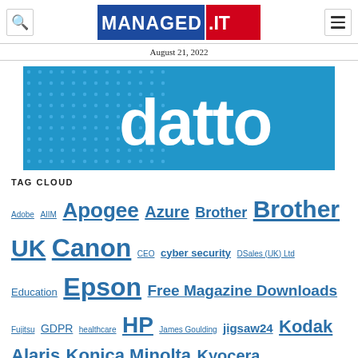MANAGED.IT — August 21, 2022
[Figure (logo): Datto logo on blue background with white text 'datto' and dot pattern]
TAG CLOUD
Adobe AIIM Apogee Azure Brother Brother UK Canon CEO cyber security DSales (UK) Ltd Education Epson Free Magazine Downloads Fujitsu GDPR healthcare HP James Goulding jigsaw24 Kodak Alaris Konica Minolta Kyocera Lexmark managing